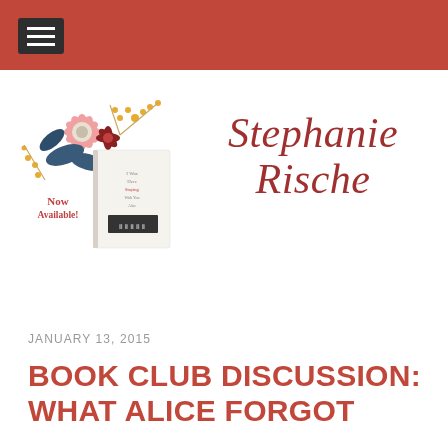[Figure (illustration): Book cover illustration with floral decorations and 'Now Available!' text on the left side of the banner]
[Figure (logo): Stephanie Rische cursive script logo in dark red/brick color]
JANUARY 13, 2015
BOOK CLUB DISCUSSION: WHAT ALICE FORGOT